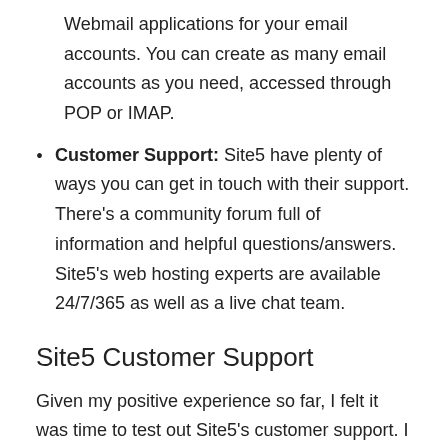Webmail applications for your email accounts. You can create as many email accounts as you need, accessed through POP or IMAP.
Customer Support: Site5 have plenty of ways you can get in touch with their support. There's a community forum full of information and helpful questions/answers. Site5's web hosting experts are available 24/7/365 as well as a live chat team.
Site5 Customer Support
Given my positive experience so far, I felt it was time to test out Site5's customer support. I set up a new live chat and asked a few questions to test the 'experts' knowledge. I opened the chat window and